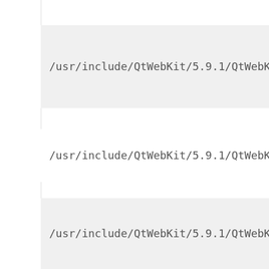/usr/include/QtWebKit/5.9.1/QtWebKit/private/qquick
/usr/include/QtWebKit/5.9.1/QtWebKit/private/qwebk
/usr/include/QtWebKit/5.9.1/QtWebKit/private/qwebp
/usr/include/QtWebKit/5.9.1/QtWebKit/private/qquick
/usr/include/QtWebKit/5.9.1/QtWebKit/private/qwebc
/usr/include/QtWebKit/5.9.1/QtWebKit/private/qwebc